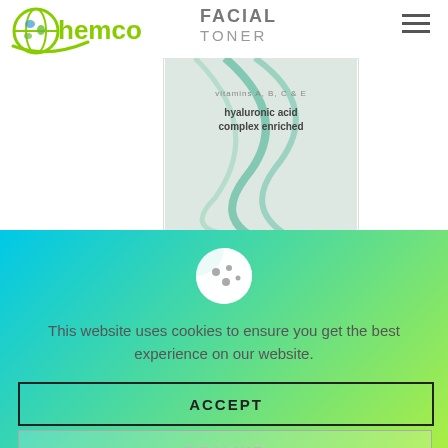[Figure (screenshot): Chemco website header with logo and facial toner product image in background]
[Figure (illustration): Cookie consent overlay with cookie icon, consent text, Accept and Decline buttons on cyan-to-yellow gradient background]
This website uses cookies to ensure you get the best experience on our website.
ACCEPT
DECLINE